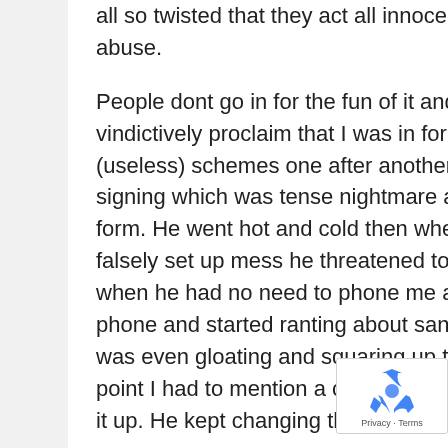all so twisted that they act all innocent when people react to the harrassment and abuse.

People dont go in for the fun of it and I had one nasty piece of work loudly and vindictively proclaim that I was in for sanction after sanction and I would be sent on (useless) schemes one after another to effectively please him. This after daily signing which was tense nightmare and being cross examined on every application form. He went hot and cold then when something else fell through because it was a falsely set up mess he threatened to sanction me because I didnt answer my phone when he had no need to phone me as he had no useful news. He then phoned my phone and started ranting about sanctions that my answer machine wasnt on. He was even gloating and squaring up to me when I said Ive had enough of this. At one point I had to mention a cease and desist letter so you can see how he was ramping it up. He kept changing the rules of my job search like there was much to apply for anyway

What does he think might happen when I am threatened
[Figure (other): reCAPTCHA badge with recycling-arrow logo and 'Privacy - Terms' text]